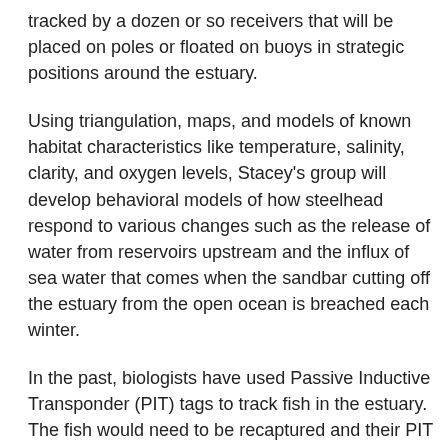tracked by a dozen or so receivers that will be placed on poles or floated on buoys in strategic positions around the estuary.
Using triangulation, maps, and models of known habitat characteristics like temperature, salinity, clarity, and oxygen levels, Stacey's group will develop behavioral models of how steelhead respond to various changes such as the release of water from reservoirs upstream and the influx of sea water that comes when the sandbar cutting off the estuary from the open ocean is breached each winter.
In the past, biologists have used Passive Inductive Transponder (PIT) tags to track fish in the estuary. The fish would need to be recaptured and their PIT tags read in order to get any information. “The data were much less rich,” says Stacey. “What the fish were doing between catch-and-release identifications was anybody's guess.”
A CITRIS seed grant is helping Stacey develop the fish-tracking and modeling part of the project, which is just one part